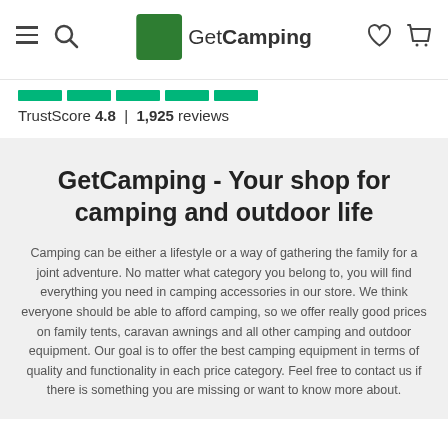GetCamping
TrustScore 4.8 | 1,925 reviews
GetCamping - Your shop for camping and outdoor life
Camping can be either a lifestyle or a way of gathering the family for a joint adventure. No matter what category you belong to, you will find everything you need in camping accessories in our store. We think everyone should be able to afford camping, so we offer really good prices on family tents, caravan awnings and all other camping and outdoor equipment. Our goal is to offer the best camping equipment in terms of quality and functionality in each price category. Feel free to contact us if there is something you are missing or want to know more about.